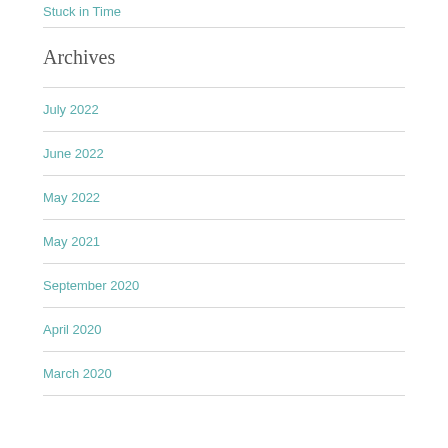Stuck in Time
Archives
July 2022
June 2022
May 2022
May 2021
September 2020
April 2020
March 2020